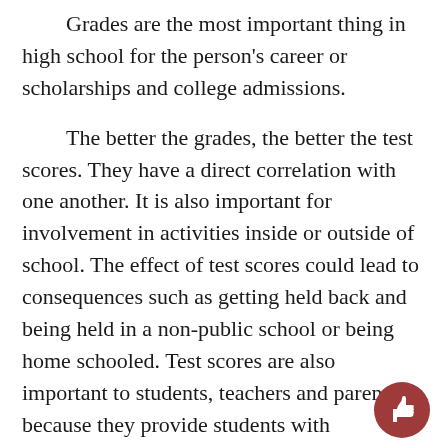Grades are the most important thing in high school for the person's career or scholarships and college admissions.
The better the grades, the better the test scores. They have a direct correlation with one another. It is also important for involvement in activities inside or outside of school. The effect of test scores could lead to consequences such as getting held back and being held in a non-public school or being home schooled. Test scores are also important to students, teachers and parents because they provide students with standardized talents.
If students want to create opportunities for themselves after high school, they need to improve their grades and test scores as well as being involved with many activities.